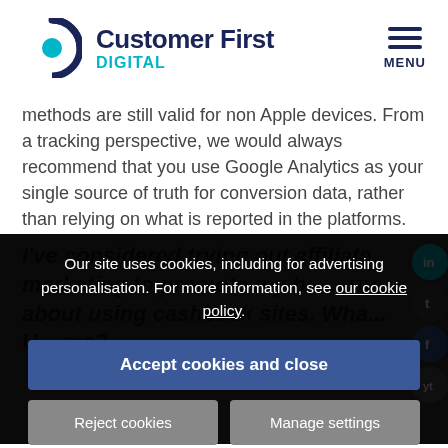[Figure (logo): Customer First Digital logo with teal C icon]
methods are still valid for non Apple devices. From a tracking perspective, we would always recommend that you use Google Analytics as your single source of truth for conversion data, rather than relying on what is reported in the platforms.
I've considered trying out affiliate marketing to promote my b... about using cashback sites. Wha... me?
Our site uses cookies, including for advertising personalisation. For more information, see our cookie policy.
Accept cookies and close
Reject cookies
Manage settings